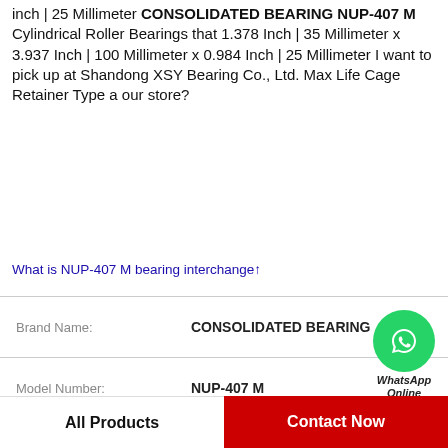inch | 25 Millimeter CONSOLIDATED BEARING NUP-407 M Cylindrical Roller Bearings that 1.378 Inch | 35 Millimeter x 3.937 Inch | 100 Millimeter x 0.984 Inch | 25 Millimeter I want to pick up at Shandong XSY Bearing Co., Ltd. Max Life Cage Retainer Type a our store?
What is NUP-407 M bearing interchange↑
| Attribute | Value |
| --- | --- |
| Brand Name: | CONSOLIDATED BEARING |
| Model Number: | NUP-407 M |
| Brand: | Baldor-Dodge |
| Housing Coating: | No Coating |
| Retainer Type: | Max Life Cage |
| Expansion Type: | Non-Expansion |
[Figure (logo): WhatsApp Online green circle icon with phone handset, labeled WhatsApp Online]
All Products   Contact Now